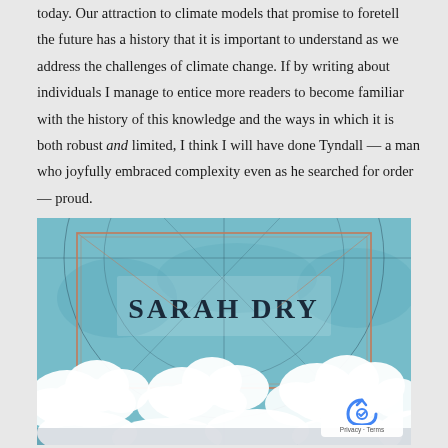today. Our attraction to climate models that promise to foretell the future has a history that it is important to understand as we address the challenges of climate change. If by writing about individuals I manage to entice more readers to become familiar with the history of this knowledge and the ways in which it is both robust and limited, I think I will have done Tyndall — a man who joyfully embraced complexity even as he searched for order — proud.
[Figure (illustration): Book cover illustration for a Sarah Dry book, featuring stylized clouds in teal/blue with the author name 'SARAH DRY' in bold dark serif font, overlaid with geometric compass/navigation line art and a copper/rose-gold rectangular border frame.]